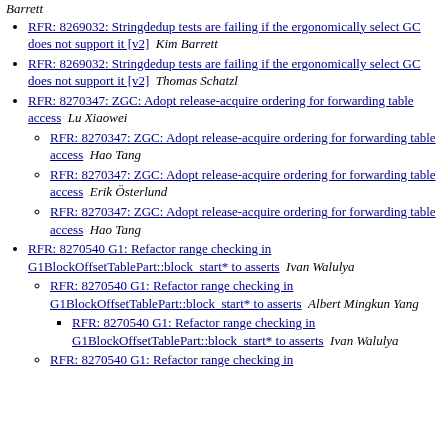Kim Barrett (top, partial)
RFR: 8269032: Stringdedup tests are failing if the ergonomically select GC does not support it [v2]  Kim Barrett
RFR: 8269032: Stringdedup tests are failing if the ergonomically select GC does not support it [v2]  Thomas Schatzl
RFR: 8270347: ZGC: Adopt release-acquire ordering for forwarding table access  Lu Xiaowei
RFR: 8270347: ZGC: Adopt release-acquire ordering for forwarding table access  Hao Tang
RFR: 8270347: ZGC: Adopt release-acquire ordering for forwarding table access  Erik Österlund
RFR: 8270347: ZGC: Adopt release-acquire ordering for forwarding table access  Hao Tang
RFR: 8270540 G1: Refactor range checking in G1BlockOffsetTablePart::block_start* to asserts  Ivan Walulya
RFR: 8270540 G1: Refactor range checking in G1BlockOffsetTablePart::block_start* to asserts  Albert Mingkun Yang
RFR: 8270540 G1: Refactor range checking in G1BlockOffsetTablePart::block_start* to asserts  Ivan Walulya
RFR: 8270540 G1: Refactor range checking in (partial, cut off)